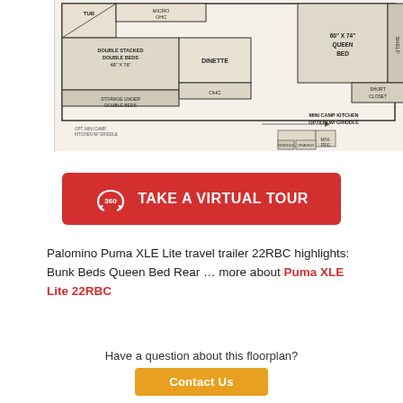[Figure (engineering-diagram): Floorplan diagram of Palomino Puma XLE Lite 22RBC travel trailer showing double stacked double beds 48x76, storage under double beds, dinette, OHC, 60x74 queen bed, shelf, short closet, mini camp kitchen option w/ griddle, mini-frig, opt mini camp kitchen w/ griddle, tub, micro OHC areas]
[Figure (other): Red button reading '360° TAKE A VIRTUAL TOUR' with a 360-degree icon]
Palomino Puma XLE Lite travel trailer 22RBC highlights: Bunk Beds Queen Bed Rear … more about Puma XLE Lite 22RBC
Have a question about this floorplan?
Contact Us